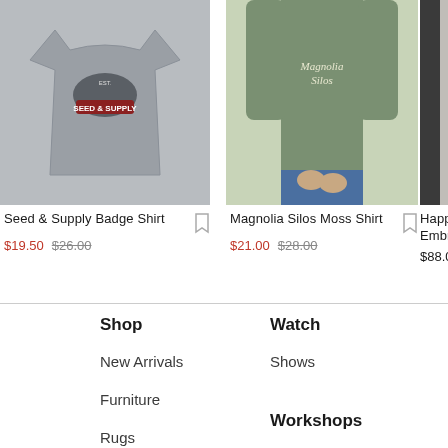[Figure (photo): Gray Seed & Supply Badge T-shirt laid flat against light background]
Seed & Supply Badge Shirt
$19.50  $26.00
[Figure (photo): Person wearing olive/moss green Magnolia Silos Moss Shirt with cursive logo, paired with blue jeans, beige background]
Magnolia Silos Moss Shirt
$21.00  $28.00
[Figure (photo): Partial view of person wearing dark top, Happy Embro product (cropped)]
Happy Embro
$88.00
Shop
New Arrivals
Furniture
Rugs
Watch
Shows
Workshops